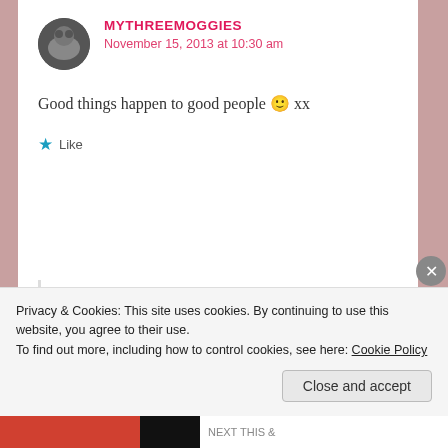MYTHREEMOGGIES
November 15, 2013 at 10:30 am
Good things happen to good people 🙂 xx
Like
CAT FORSLEY
November 16, 2013 at 6:59 am
XOXOXO love to the BOYZ XXXX
Privacy & Cookies: This site uses cookies. By continuing to use this website, you agree to their use.
To find out more, including how to control cookies, see here: Cookie Policy
Close and accept